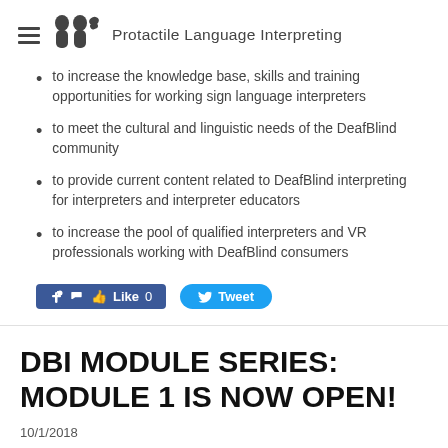Protactile Language Interpreting
to increase the knowledge base, skills and training opportunities for working sign language interpreters
to meet the cultural and linguistic needs of the DeafBlind community
to provide current content related to DeafBlind interpreting for interpreters and interpreter educators
to increase the pool of qualified interpreters and VR professionals working with DeafBlind consumers
DBI MODULE SERIES: MODULE 1 IS NOW OPEN!
10/1/2018